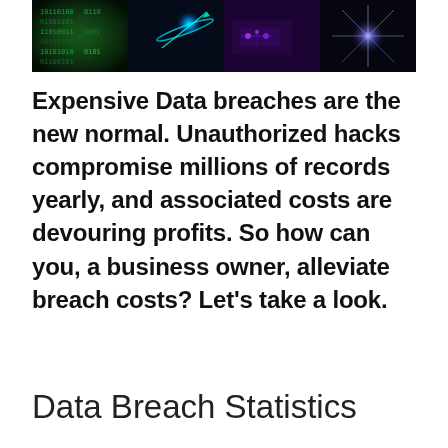[Figure (photo): A collage banner of four cybersecurity-themed images: green digital matrix code panel, cyan glowing planet/sphere in dark space, purple-toned circuit board or technology panel, and a blue-white starburst light explosion on dark background.]
Expensive Data breaches are the new normal. Unauthorized hacks compromise millions of records yearly, and associated costs are devouring profits. So how can you, a business owner, alleviate breach costs? Let's take a look.
Data Breach Statistics